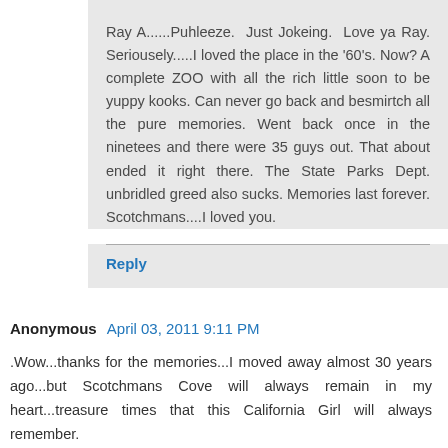Ray A......Puhleeze. Just Jokeing. Love ya Ray. Seriousely.....I loved the place in the '60's. Now? A complete ZOO with all the rich little soon to be yuppy kooks. Can never go back and besmirtch all the pure memories. Went back once in the ninetees and there were 35 guys out. That about ended it right there. The State Parks Dept. unbridled greed also sucks. Memories last forever. Scotchmans....I loved you.
Reply
Anonymous April 03, 2011 9:11 PM
.Wow...thanks for the memories...I moved away almost 30 years ago...but Scotchmans Cove will always remain in my heart...treasure times that this California Girl will always remember.
Walking down the winding trail...with coolers filled with ice cold brew, shovels, a boombox, boards (of course) and